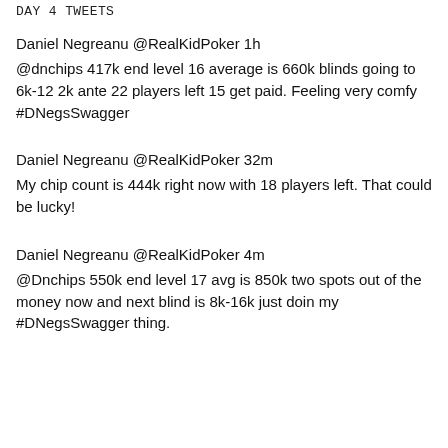DAY 4 TWEETS
Daniel Negreanu @RealKidPoker 1h
@dnchips 417k end level 16 average is 660k blinds going to 6k-12 2k ante 22 players left 15 get paid. Feeling very comfy #DNegsSwagger
Daniel Negreanu @RealKidPoker 32m
My chip count is 444k right now with 18 players left. That could be lucky!
Daniel Negreanu @RealKidPoker 4m
@Dnchips 550k end level 17 avg is 850k two spots out of the money now and next blind is 8k-16k just doin my #DNegsSwagger thing.